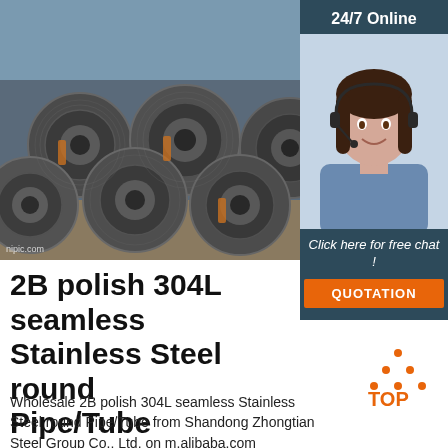[Figure (photo): Stacked coils of stainless steel wire/rod with watermark 'nipic.com']
[Figure (photo): Customer service agent with headset - 24/7 Online sidebar panel with 'Click here for free chat!' text and QUOTATION button]
2B polish 304L seamless Stainless Steel round Pipe/Tube
Wholesale 2B polish 304L seamless Stainless Steel round Pipe/Tube from Shandong Zhongtian Steel Group Co., Ltd. on m.alibaba.com